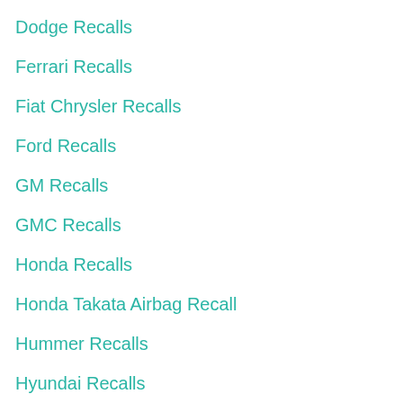Dodge Recalls
Ferrari Recalls
Fiat Chrysler Recalls
Ford Recalls
GM Recalls
GMC Recalls
Honda Recalls
Honda Takata Airbag Recall
Hummer Recalls
Hyundai Recalls
Infiniti Recalls